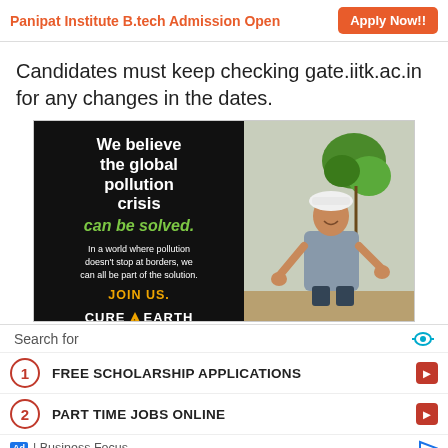Panipat Institute B.tech Admission Open  Apply Now!!
Candidates must keep checking gate.iitk.ac.in for any changes in the dates.
[Figure (illustration): Advertisement banner: black left panel with text 'We believe the global pollution crisis can be solved. In a world where pollution doesn't stop at borders, we can all be part of the solution. JOIN US. CURE [diamond icon] EARTH', green text 'can be solved.', gold 'JOIN US.'. Right panel shows a man in white hard hat planting a tree sapling.]
Search for
1  FREE SCHOLARSHIP APPLICATIONS
2  PART TIME JOBS ONLINE
Ad | Business Focus